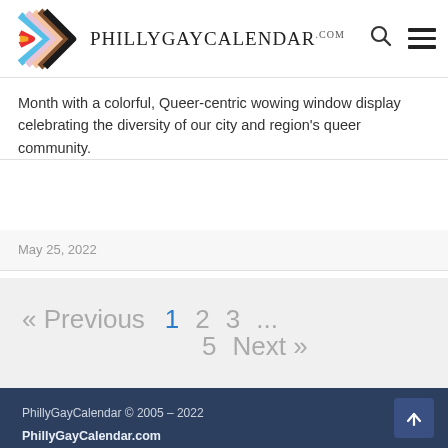PhillyGayCalendar.com
Month with a colorful, Queer-centric wowing window display celebrating the diversity of our city and region's queer community.
May 25, 2022
« Previous  1  2  3  ...  5  Next »
PhillyGayCalendar © 2005 – 2022
PhillyGayCalendar.com
Philadelphia, PA
events@phillygaycalendar.com